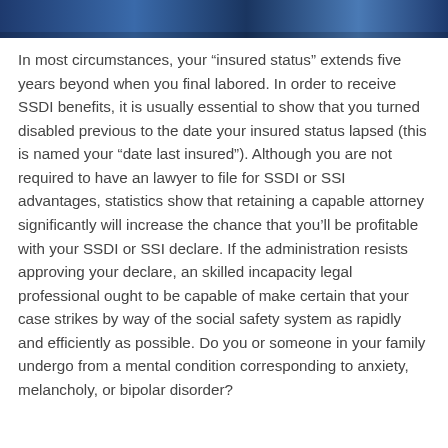[Figure (photo): Header image showing a decorative blue banner or photo strip at the top of the page]
In most circumstances, your “insured status” extends five years beyond when you final labored. In order to receive SSDI benefits, it is usually essential to show that you turned disabled previous to the date your insured status lapsed (this is named your “date last insured”). Although you are not required to have an lawyer to file for SSDI or SSI advantages, statistics show that retaining a capable attorney significantly will increase the chance that you’ll be profitable with your SSDI or SSI declare. If the administration resists approving your declare, an skilled incapacity legal professional ought to be capable of make certain that your case strikes by way of the social safety system as rapidly and efficiently as possible. Do you or someone in your family undergo from a mental condition corresponding to anxiety, melancholy, or bipolar disorder?